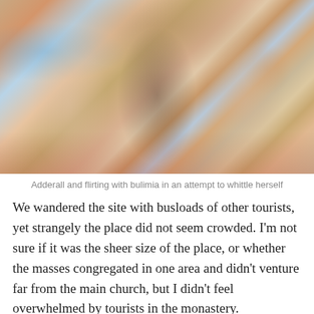[Figure (photo): Three young women sitting together outdoors, smiling. They are dressed in bohemian/summer style clothing. The middle woman holds a red cocktail drink, the right woman holds a green drink. Colorful cushions and pillows are visible in the background.]
Adderall and flirting with bulimia in an attempt to whittle herself
We wandered the site with busloads of other tourists, yet strangely the place did not seem crowded. I'm not sure if it was the sheer size of the place, or whether the masses congregated in one area and didn't venture far from the main church, but I didn't feel overwhelmed by tourists in the monastery.